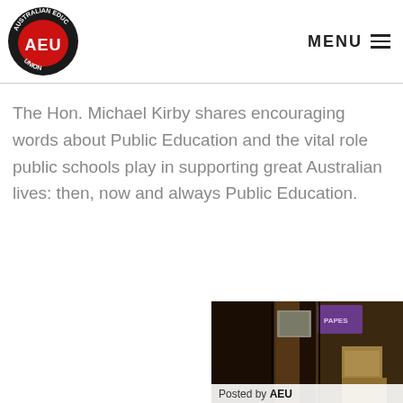AEU (Australian Education Union) — MENU
The Hon. Michael Kirby shares encouraging words about Public Education and the vital role public schools play in supporting great Australian lives: then, now and always Public Education.
[Figure (photo): Dark interior photo of a room with shelves, boxes, and a purple item visible. A 'Posted by AEU' label appears at the bottom of the image.]
Posted by AEU